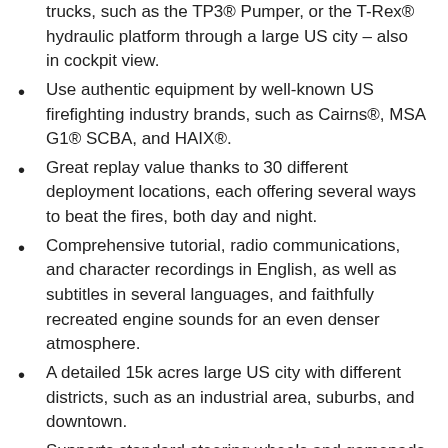trucks, such as the TP3® Pumper, or the T-Rex® hydraulic platform through a large US city – also in cockpit view.
Use authentic equipment by well-known US firefighting industry brands, such as Cairns®, MSA G1® SCBA, and HAIX®.
Great replay value thanks to 30 different deployment locations, each offering several ways to beat the fires, both day and night.
Comprehensive tutorial, radio communications, and character recordings in English, as well as subtitles in several languages, and faithfully recreated engine sounds for an even denser atmosphere.
A detailed 15k acres large US city with different districts, such as an industrial area, suburbs, and downtown.
Supports standard steering wheels and gamepads